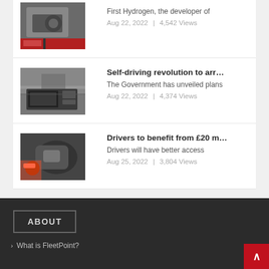[Figure (photo): Engine/machinery photo (hydrogen vehicle)]
First Hydrogen, the developer of
Aug 22, 2022  |  4,542 Views
[Figure (photo): Car dashboard / road / self-driving car interior]
Self-driving revolution to arr…
The Government has unveiled plans
Aug 22, 2022  |  4,374 Views
[Figure (photo): EV charger plug being inserted into car]
Drivers to benefit from £20 m…
Drivers will have better access
Aug 25, 2022  |  3,804 Views
ABOUT
What is FleetPoint?